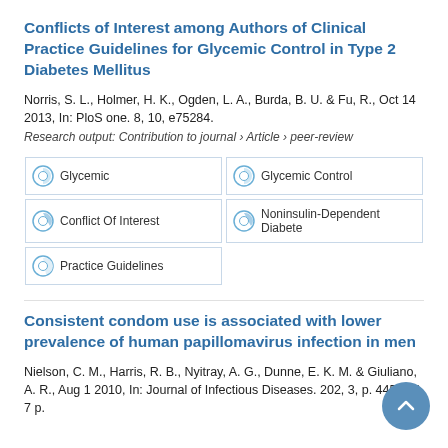Conflicts of Interest among Authors of Clinical Practice Guidelines for Glycemic Control in Type 2 Diabetes Mellitus
Norris, S. L., Holmer, H. K., Ogden, L. A., Burda, B. U. & Fu, R., Oct 14 2013, In: PloS one. 8, 10, e75284.
Research output: Contribution to journal › Article › peer-review
Glycemic
Glycemic Control
Conflict Of Interest
Noninsulin-Dependent Diabete
Practice Guidelines
Consistent condom use is associated with lower prevalence of human papillomavirus infection in men
Nielson, C. M., Harris, R. B., Nyitray, A. G., Dunne, E. K. M. & Giuliano, A. R., Aug 1 2010, In: Journal of Infectious Diseases. 202, 3, p. 445-451 7 p.